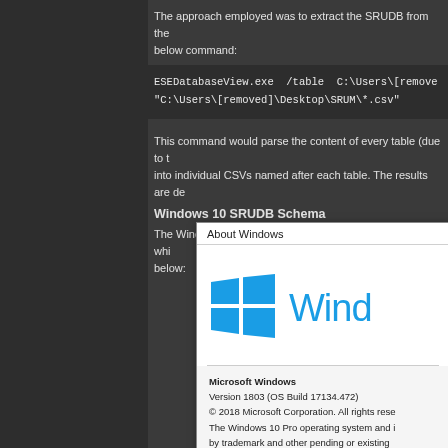The approach employed was to extract the SRUDB from the below command:
ESEDatabaseView.exe /table C:\Users\[remove "C:\Users\[removed]\Desktop\SRUM\*.csv"
This command would parse the content of every table (due to into individual CSVs named after each table. The results are de
Windows 10 SRUDB Schema
The Windows 10 system analysed is a heavy use system whi below:
[Figure (screenshot): About Windows dialog box showing Microsoft Windows Version 1803 (OS Build 17134.472), with Windows logo (blue four-pane logo) and 'Windows' text in blue. Text reads: Microsoft Windows, Version 1803 (OS Build 17134.472), © 2018 Microsoft Corporation. All rights reserved. The Windows 10 Pro operating system and its user interface are protected by trademark and other pending or existing intellectual property rights in the United States and other countries/regions.]